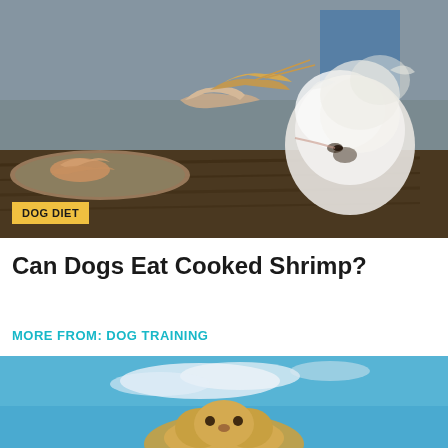[Figure (photo): A small white fluffy dog sniffing cooked shrimp being held out by a person's hand over a wooden table at what appears to be an outdoor market. A tray of shrimp is visible on the left. Blurred people in the background.]
DOG DIET
Can Dogs Eat Cooked Shrimp?
MORE FROM: DOG TRAINING
[Figure (photo): A golden dog photographed from below against a bright blue sky with white clouds. Only the top portion of the dog is visible as the image is cropped at the bottom of the page.]